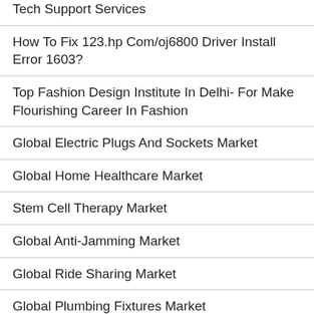Tech Support Services
How To Fix 123.hp Com/oj6800 Driver Install Error 1603?
Top Fashion Design Institute In Delhi- For Make Flourishing Career In Fashion
Global Electric Plugs And Sockets Market
Global Home Healthcare Market
Stem Cell Therapy Market
Global Anti-Jamming Market
Global Ride Sharing Market
Global Plumbing Fixtures Market